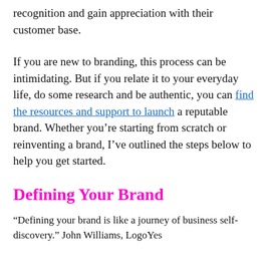recognition and gain appreciation with their customer base.
If you are new to branding, this process can be intimidating. But if you relate it to your everyday life, do some research and be authentic, you can find the resources and support to launch a reputable brand. Whether you’re starting from scratch or reinventing a brand, I’ve outlined the steps below to help you get started.
Defining Your Brand
“Defining your brand is like a journey of business self-discovery.” John Williams, LogoYes